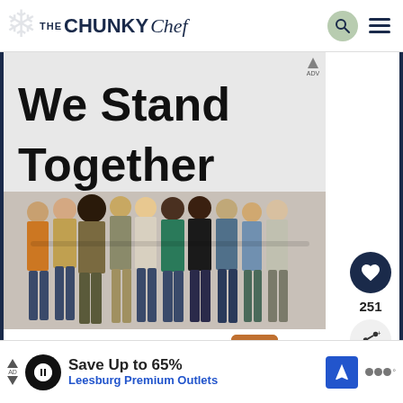THE CHUNKY Chef
[Figure (photo): Advertisement image showing group of diverse people standing together with arms around each other, viewed from behind, with large bold text 'We Stand Together' overlaid on the upper portion of the image against a light gray background.]
251
WHAT'S NEXT → Cheesy Bacon Jalapeno...
Save Up to 65% Leesburg Premium Outlets